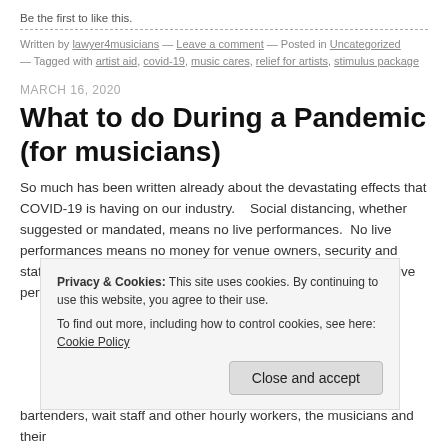Be the first to like this.
Written by lawyer4musicians — Leave a comment — Posted in Uncategorized — Tagged with artist aid, covid-19, music cares, relief for artists, stimulus package
MARCH 16, 2020
What to do During a Pandemic (for musicians)
So much has been written already about the devastating effects that COVID-19 is having on our industry.    Social distancing, whether suggested or mandated, means no live performances.  No live performances means no money for venue owners, security and staff, ticketing companies, the artists and their teams.  Without live performance...
Privacy & Cookies: This site uses cookies. By continuing to use this website, you agree to their use.
To find out more, including how to control cookies, see here: Cookie Policy
bartenders, wait staff and other hourly workers, the musicians and their